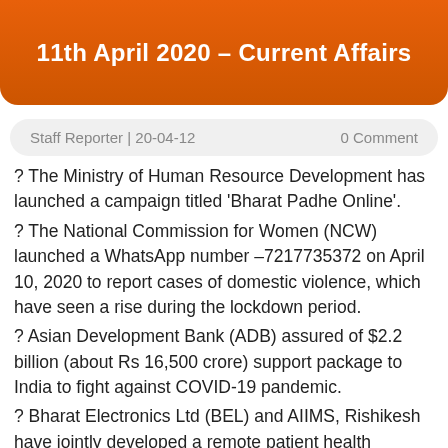11th April 2020 – Current Affairs
Staff Reporter | 20-04-12    0 Comment
? The Ministry of Human Resource Development has launched a campaign titled 'Bharat Padhe Online'.
? The National Commission for Women (NCW) launched a WhatsApp number –7217735372 on April 10, 2020 to report cases of domestic violence, which have seen a rise during the lockdown period.
? Asian Development Bank (ADB) assured of $2.2 billion (about Rs 16,500 crore) support package to India to fight against COVID-19 pandemic.
? Bharat Electronics Ltd (BEL) and AIIMS, Rishikesh have jointly developed a remote patient health monitoring system to the condition of COVID-19 patients without healthcare workers ricking exposure to them. The device has non